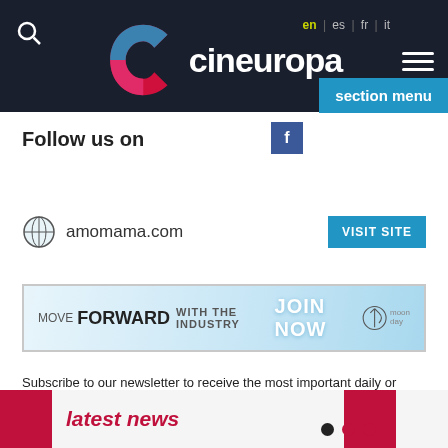cineuropa — en | es | fr | it
Follow us on
amomama.com
[Figure (infographic): Advertisement banner: MOVE FORWARD WITH THE INDUSTRY JOIN NOW moonday logo]
Subscribe to our newsletter to receive the most important daily or weekly news on European cinema
latest news